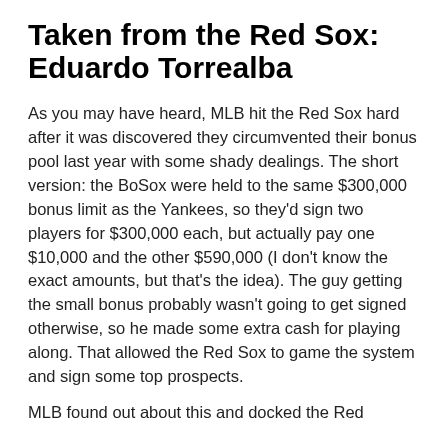Taken from the Red Sox: Eduardo Torrealba
As you may have heard, MLB hit the Red Sox hard after it was discovered they circumvented their bonus pool last year with some shady dealings. The short version: the BoSox were held to the same $300,000 bonus limit as the Yankees, so they'd sign two players for $300,000 each, but actually pay one $10,000 and the other $590,000 (I don't know the exact amounts, but that's the idea). The guy getting the small bonus probably wasn't going to get signed otherwise, so he made some extra cash for playing along. That allowed the Red Sox to game the system and sign some top prospects.
MLB found out about this and docked the Red...